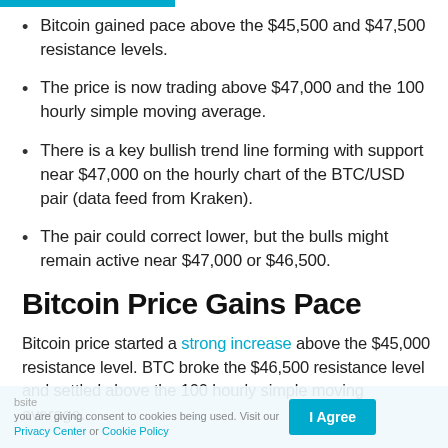Bitcoin gained pace above the $45,500 and $47,500 resistance levels.
The price is now trading above $47,000 and the 100 hourly simple moving average.
There is a key bullish trend line forming with support near $47,000 on the hourly chart of the BTC/USD pair (data feed from Kraken).
The pair could correct lower, but the bulls might remain active near $47,000 or $46,500.
Bitcoin Price Gains Pace
Bitcoin price started a strong increase above the $45,000 resistance level. BTC broke the $46,500 resistance level and settled above the 100 hourly simple moving average.